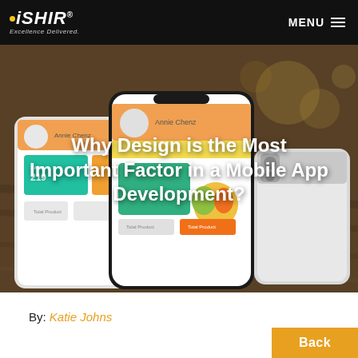iSHIR Excellence Delivered. MENU
[Figure (photo): Hero image showing multiple smartphones on a wooden surface displaying app UI screens with colorful data dashboards, overlaid with article title text]
Why Design is the Most Important Factor in a Mobile App Development?
By: Katie Johns
Back